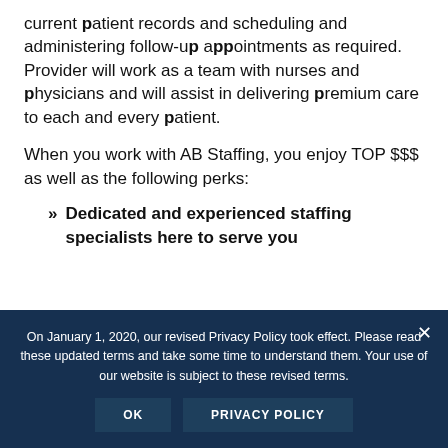current patient records and scheduling and administering follow-up appointments as required. Provider will work as a team with nurses and physicians and will assist in delivering premium care to each and every patient.
When you work with AB Staffing, you enjoy TOP $$$ as well as the following perks:
Dedicated and experienced staffing specialists here to serve you
On January 1, 2020, our revised Privacy Policy took effect. Please read these updated terms and take some time to understand them. Your use of our website is subject to these revised terms.